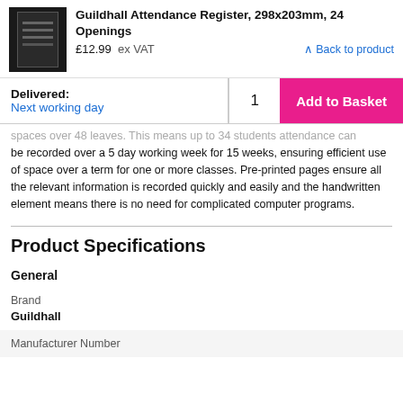Guildhall Attendance Register, 298x203mm, 24 Openings
£12.99  ex VAT
Back to product
Delivered:
Next working day
1
Add to Basket
spaces over 48 leaves. This means up to 34 students attendance can be recorded over a 5 day working week for 15 weeks, ensuring efficient use of space over a term for one or more classes. Pre-printed pages ensure all the relevant information is recorded quickly and easily and the handwritten element means there is no need for complicated computer programs.
Product Specifications
General
Brand
Guildhall
Manufacturer Number